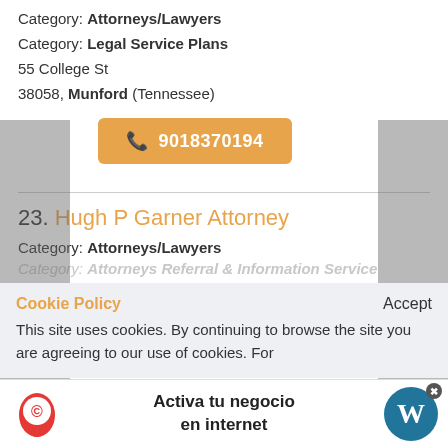Category: Attorneys/Lawyers
Category: Legal Service Plans
55 College St
38058, Munford (Tennessee)
9018370194
23. Hugh P Garner Attorney
Category: Attorneys/Lawyers
Category: Attorneys Referral & Information Service
Cookie Policy
Accept
This site uses cookies. By continuing to browse the site you are agreeing to our use of cookies. For
Activa tu negocio en internet